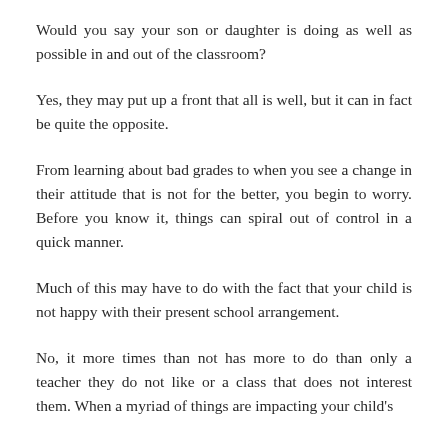Would you say your son or daughter is doing as well as possible in and out of the classroom?
Yes, they may put up a front that all is well, but it can in fact be quite the opposite.
From learning about bad grades to when you see a change in their attitude that is not for the better, you begin to worry. Before you know it, things can spiral out of control in a quick manner.
Much of this may have to do with the fact that your child is not happy with their present school arrangement.
No, it more times than not has more to do than only a teacher they do not like or a class that does not interest them. When a myriad of things are impacting your child's